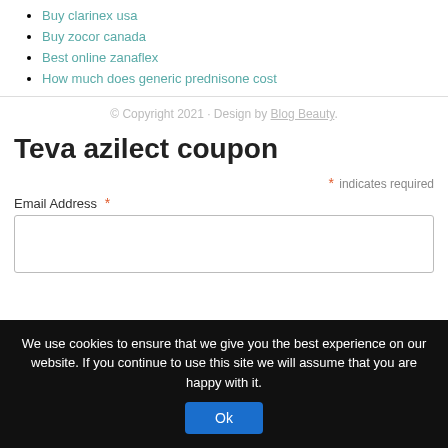Buy clarinex usa
Buy zocor canada
Best online zanaflex
How much does generic prednisone cost
© Copyright 2021 · Design by Blog Beauty.
Teva azilect coupon
* indicates required
Email Address *
We use cookies to ensure that we give you the best experience on our website. If you continue to use this site we will assume that you are happy with it.